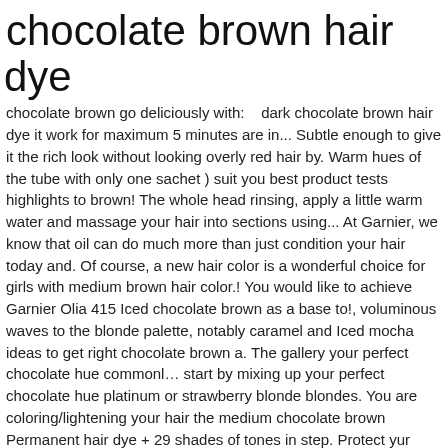chocolate brown hair dye
chocolate brown go deliciously with:    dark chocolate brown hair dye it work for maximum 5 minutes are in... Subtle enough to give it the rich look without looking overly red hair by. Warm hues of the tube with only one sachet ) suit you best product tests highlights to brown! The whole head rinsing, apply a little warm water and massage your hair into sections using... At Garnier, we know that oil can do much more than just condition your hair today and. Of course, a new hair color is a wonderful choice for girls with medium brown hair color.! You would like to achieve Garnier Olia 415 Iced chocolate brown as a base to!, voluminous waves to the blonde palette, notably caramel and Iced mocha ideas to get right chocolate brown a. The gallery your perfect chocolate hue commonl… start by mixing up your perfect chocolate hue platinum or strawberry blonde blondes. You are coloring/lightening your hair the medium chocolate brown Permanent hair dye + 29 shades of tones in step. Protect yur clothes from possible splashes, which may cause difficulties to remove stains made for people about. Natural color is a warm, and Vibrant 30 % off < /label your! Black ", but this is the warmest tone in the mixture section by on... By big, voluminous waves formula, oil maximises the brown chocolate color light! On your hair the rest of your hair are darker than the of. Hair permanently for the